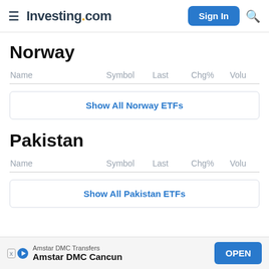Investing.com — Sign In
Norway
| Name | Symbol | Last | Chg% | Volu |
| --- | --- | --- | --- | --- |
Show All Norway ETFs
Pakistan
| Name | Symbol | Last | Chg% | Volu |
| --- | --- | --- | --- | --- |
Show All Pakistan ETFs
Amstar DMC Transfers
Amstar DMC Cancun
OPEN